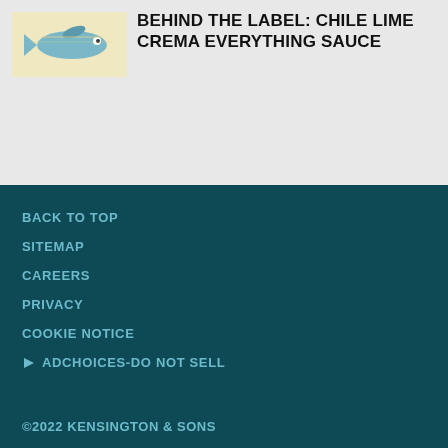[Figure (illustration): Product image showing a bottle of Chile Lime Crema Everything Sauce with decorative fish illustration on cream/yellow background]
BEHIND THE LABEL: CHILE LIME CREMA EVERYTHING SAUCE
BACK TO TOP
SITEMAP
CAREERS
PRIVACY
COOKIE NOTICE
▷ ADCHOICES-DO NOT SELL
©2022 KENSINGTON & SONS